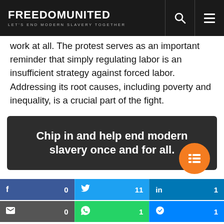FREEDOM UNITED — LET'S END MODERN SLAVERY TOGETHER
work at all. The protest serves as an important reminder that simply regulating labor is an insufficient strategy against forced labor. Addressing its root causes, including poverty and inequality, is a crucial part of the fight.
[Figure (infographic): Dark banner with white bold text: 'Chip in and help end modern slavery once and for all.' with an orange circular button on bottom right.]
f 0   🐦 11   in 1   ✉ 0   © 1   💬 1